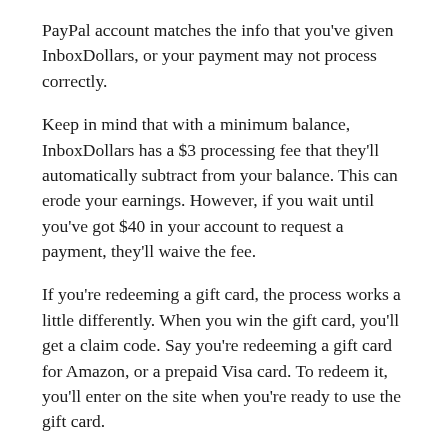PayPal account matches the info that you've given InboxDollars, or your payment may not process correctly.
Keep in mind that with a minimum balance, InboxDollars has a $3 processing fee that they'll automatically subtract from your balance. This can erode your earnings. However, if you wait until you've got $40 in your account to request a payment, they'll waive the fee.
If you're redeeming a gift card, the process works a little differently. When you win the gift card, you'll get a claim code. Say you're redeeming a gift card for Amazon, or a prepaid Visa card. To redeem it, you'll enter on the site when you're ready to use the gift card.
How Fast Does InboxDollars Pay Out?